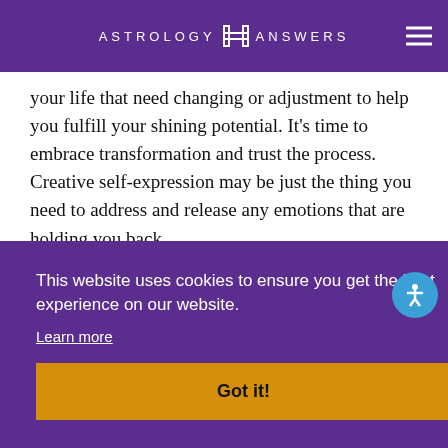ASTROLOGY ANSWERS
your life that need changing or adjustment to help you fulfill your shining potential. It's time to embrace transformation and trust the process. Creative self-expression may be just the thing you need to address and release any emotions that are holding you back.
Flow With the New Moon in Scorpio
This website uses cookies to ensure you get the best experience on our website.
Learn more
Got it!
In order to bring new and better things into your life, you